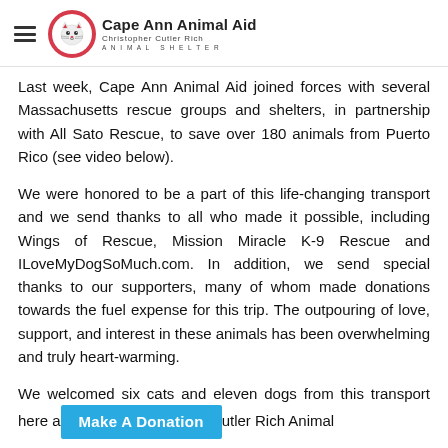Cape Ann Animal Aid — Christopher Cutler Rich Animal Shelter
Last week, Cape Ann Animal Aid joined forces with several Massachusetts rescue groups and shelters, in partnership with All Sato Rescue, to save over 180 animals from Puerto Rico (see video below).
We were honored to be a part of this life-changing transport and we send thanks to all who made it possible, including Wings of Rescue, Mission Miracle K-9 Rescue and ILoveMyDogSoMuch.com. In addition, we send special thanks to our supporters, many of whom made donations towards the fuel expense for this trip. The outpouring of love, support, and interest in these animals has been overwhelming and truly heart-warming.
We welcomed six cats and eleven dogs from this transport here at the Christopher Cutler Rich Animal [Make A Donation button overlay]